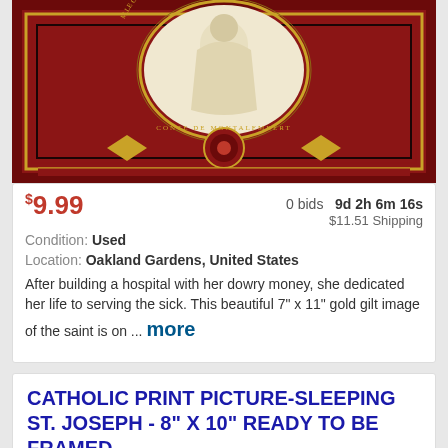[Figure (photo): Decorative Catholic ornate book cover or print with mosaic-style red and gold design featuring a saint figure in an oval medallion, with text 'COMTE DE MONTALEMBERT' around the border]
$9.99   0 bids   9d 2h 6m 16s   $11.51 Shipping
Condition: Used
Location: Oakland Gardens, United States
After building a hospital with her dowry money, she dedicated her life to serving the sick. This beautiful 7" x 11" gold gilt image of the saint is on ... more
CATHOLIC PRINT PICTURE-SLEEPING ST. JOSEPH - 8" X 10" READY TO BE FRAMED
[Figure (photo): Partial view of a Catholic print picture showing a scene, cropped at bottom of page]